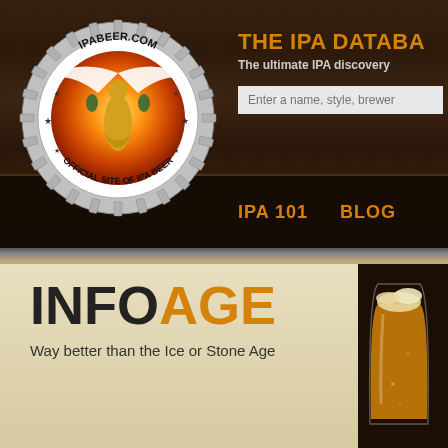[Figure (logo): IPABEER.COM logo — circular gear/cog badge with golden angel/figure on glowing orange background, text reading 'IPABEER.COM * OFFICIAL SITE OF IPA BEER']
THE IPA DATABASE
The ultimate IPA discovery
Enter a name, style, brewer
IPA 101
BLOG
INFOAGE
Way better than the Ice or Stone Age
[Figure (photo): Beer glass with golden beer, partially visible on right side of page]